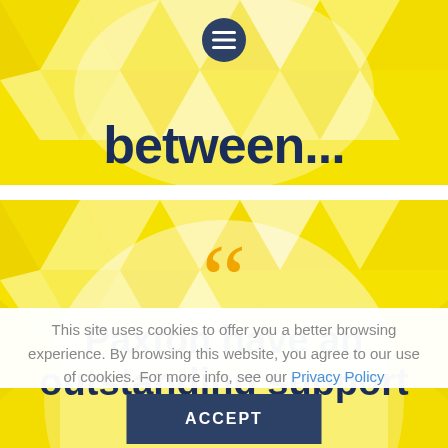[Figure (other): Navigation hamburger menu icon inside a dark navy circle, positioned at top center of the page]
[Figure (illustration): Yellow geometric triangular pattern background banner at the top section]
between
[Figure (illustration): Yellow geometric triangular pattern background banner for the quote section]
““
Paxton have an outstanding support team
This site uses cookies to offer you a better browsing experience. By browsing this website, you agree to our use of cookies. For more info, see our Privacy Policy
ACCEPT